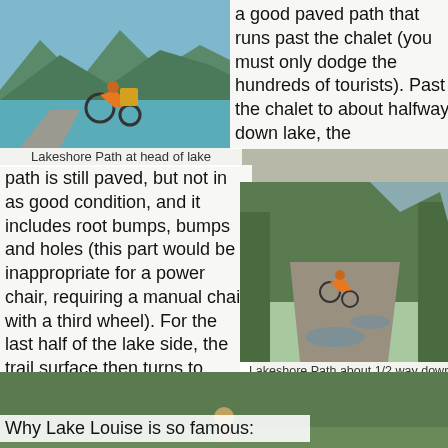[Figure (photo): Person on adaptive bike/wheelchair on paved lakeshore path with turquoise lake and mountains in background]
Lakeshore Path at head of lake
a good paved path that runs past the chalet (you must only dodge the hundreds of tourists).  Past the chalet to about halfway down lake, the
path is still paved, but not in as good condition, and it includes root bumps, bumps and holes (this part would be inappropriate for a power chair, requiring a manual chair with a third wheel).  For the last half of the lake side, the trail surface then turns to hard-packed gravel and dirt to the end of lake, with smatterings of roots and/or rocks.  At the end of the lake, the trail continues into the wilderness, but it is possible only for an all-terrain wheelchair, like my Freedom Chair, and serious assistance (like my husband).
[Figure (photo): Person on adaptive wheelchair/handcycle on damaged paved path with puddles and root bumps, trees and mountains in background]
Lakeshore Path about 1/2 way down lake
[Figure (photo): Background wilderness/forest scene]
Why Lake Louise is so famous: